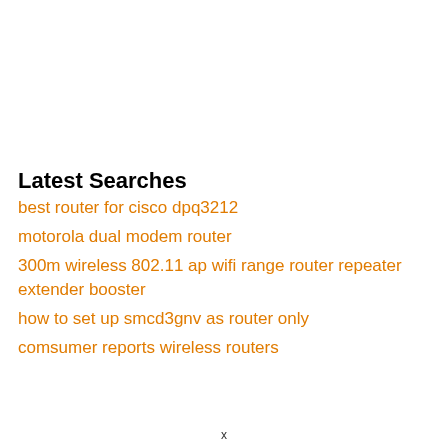Latest Searches
best router for cisco dpq3212
motorola dual modem router
300m wireless 802.11 ap wifi range router repeater extender booster
how to set up smcd3gnv as router only
comsumer reports wireless routers
x